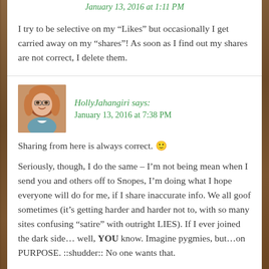January 13, 2016 at 1:11 PM
I try to be selective on my “Likes” but occasionally I get carried away on my “shares”! As soon as I find out my shares are not correct, I delete them.
HollyJahangiri says: January 13, 2016 at 7:38 PM
Sharing from here is always correct. 🙂
Seriously, though, I do the same – I’m not being mean when I send you and others off to Snopes, I’m doing what I hope everyone will do for me, if I share inaccurate info. We all goof sometimes (it’s getting harder and harder not to, with so many sites confusing “satire” with outright LIES). If I ever joined the dark side… well, YOU know. Imagine pygmies, but…on PURPOSE. ::shudder:: No one wants that.